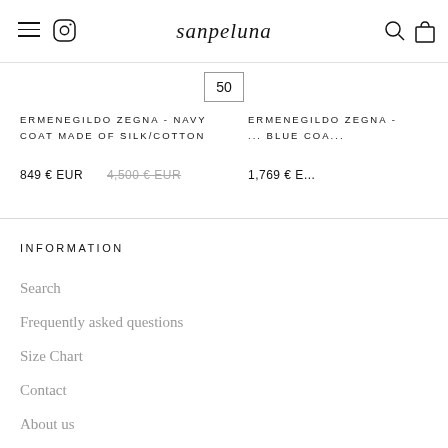sanpeluna
50
ERMENEGILDO ZEGNA - NAVY COAT MADE OF SILK/COTTON
849 € EUR  4,500 € EUR (strikethrough)
ERMENEGILDO ZEGNA - ... BLUE COA...
1,769 € E...
INFORMATION
Search
Frequently asked questions
Size Chart
Contact
About us